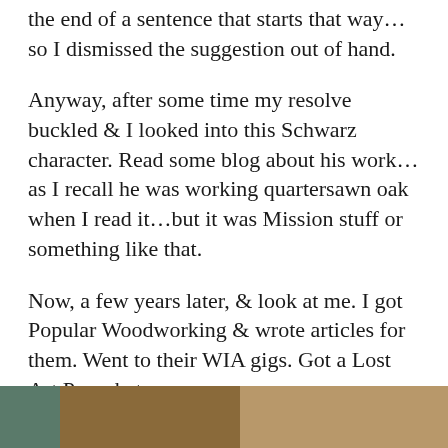the end of a sentence that starts that way... so I dismissed the suggestion out of hand.
Anyway, after some time my resolve buckled & I looked into this Schwarz character. Read some blog about his work... as I recall he was working quartersawn oak when I read it...but it was Mission stuff or something like that.
Now, a few years later, & look at me. I got Popular Woodworking & wrote articles for them. Went to their WIA gigs. Got a Lost Art Press hat,
[Figure (photo): Partial view of a photograph at the bottom of the page, showing what appears to be people or objects, cropped.]